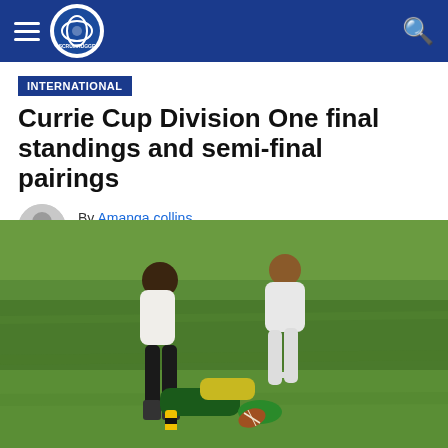SCRUMRUGGE navigation bar
INTERNATIONAL
Currie Cup Division One final standings and semi-final pairings
By Amanga collins
Posted on June 13, 2022
[Figure (photo): Rugby players tackling on a green grass field during a Currie Cup Division One match]